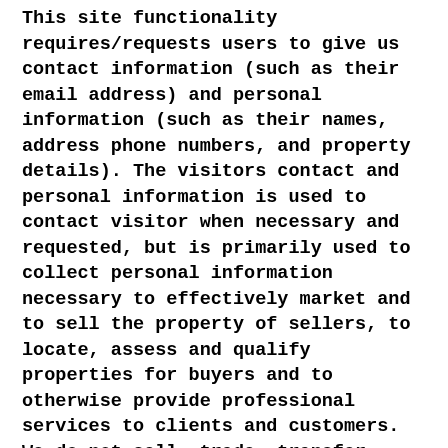This site functionality requires/requests users to give us contact information (such as their email address) and personal information (such as their names, address phone numbers, and property details). The visitors contact and personal information is used to contact visitor when necessary and requested, but is primarily used to collect personal information necessary to effectively market and to sell the property of sellers, to locate, assess and qualify properties for buyers and to otherwise provide professional services to clients and customers. We do not sell, trade, transfer, rent or exchange your personal information with anyone. We do not disclose information about your individual visits to this site, or personal information that you provide, such as your name, address, e-mail address, telephone number, etc., to any outside parties, except when we believe the law requires it.